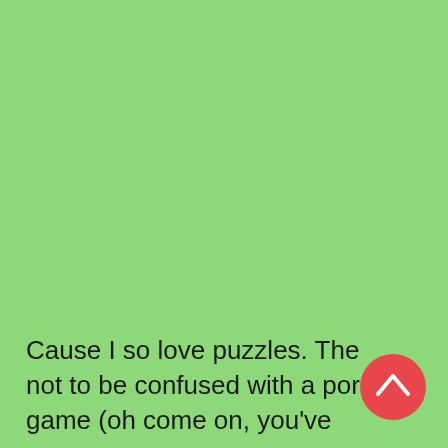Cause I so love puzzles. The not to be confused with a porno game (oh come on, you've
[Figure (other): Red circular button with white upward-pointing chevron/caret arrow, positioned in the lower right area of the page]